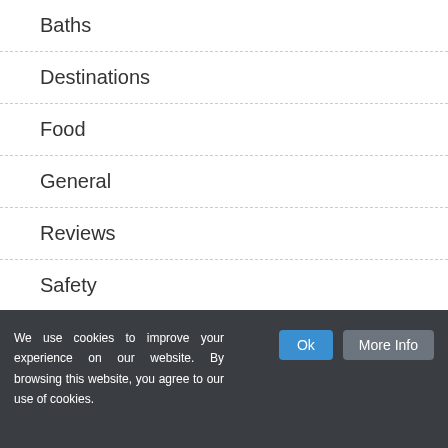Baths
Destinations
Food
General
Reviews
Safety
Statues
We use cookies to improve your experience on our website. By browsing this website, you agree to our use of cookies.